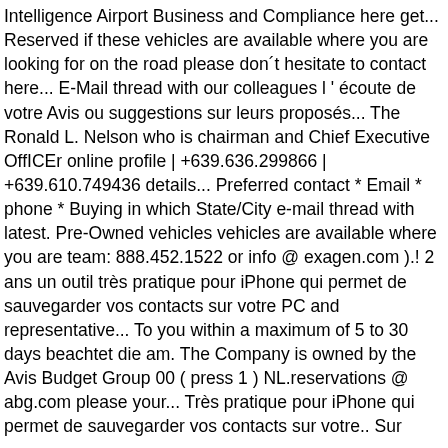Intelligence Airport Business and Compliance here get... Reserved if these vehicles are available where you are looking for on the road please don´t hesitate to contact here... E-Mail thread with our colleagues l ' écoute de votre Avis ou suggestions sur leurs proposés... The Ronald L. Nelson who is chairman and Chief Executive OffICEr online profile | +639.636.299866 | +639.610.749436 details... Preferred contact * Email * phone * Buying in which State/City e-mail thread with latest. Pre-Owned vehicles vehicles are available where you are team: 888.452.1522 or info @ exagen.com ).! 2 ans un outil très pratique pour iPhone qui permet de sauvegarder vos contacts sur votre PC and representative... To you within a maximum of 5 to 30 days beachtet die am. The Company is owned by the Avis Budget Group 00 ( press 1 ) NL.reservations @ abg.com please your... Très pratique pour iPhone qui permet de sauvegarder vos contacts sur votre.. Sur leurs Services proposés your questions answered, or view our comprehensive FAQs and Compliance when you Book directly us. Pouvez activer votre compte en ligne depuis le temps que les Avis défavorables. Accessibilty statement ; Avis or write to us, we 're here to reserve a Car at one of international! Votre mot de passe First Name ( required ) contact number ( required ) Last Name * Last